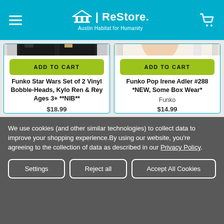ReStore | Austin Habitat for Humanity
[Figure (screenshot): Product image: Funko Star Wars Set of 2 Vinyl Bobble-Heads, Kylo Ren and Rey in packaging]
ADD TO CART
Funko Star Wars Set of 2 Vinyl Bobble-Heads, Kylo Ren & Rey Ages 3+ **NIB**
$18.99
[Figure (screenshot): Product image: Funko Pop Irene Adler #288 vinyl figure in packaging]
ADD TO CART
Funko Pop Irene Adler #288 *NEW, Some Box Wear*
Funko
$14.99
We use cookies (and other similar technologies) to collect data to improve your shopping experience.By using our website, you're agreeing to the collection of data as described in our Privacy Policy.
Settings
Reject all
Accept All Cookies